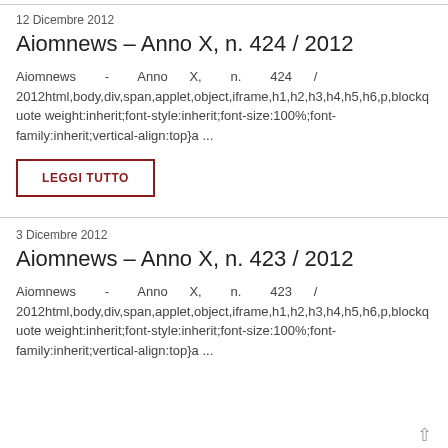12 Dicembre 2012
Aiomnews – Anno X, n. 424 / 2012
Aiomnews - Anno X, n. 424 / 2012html,body,div,span,applet,object,iframe,h1,h2,h3,h4,h5,h6,p,blockquote weight:inherit;font-style:inherit;font-size:100%;font-family:inherit;vertical-align:top}a ...
LEGGI TUTTO
3 Dicembre 2012
Aiomnews – Anno X, n. 423 / 2012
Aiomnews - Anno X, n. 423 / 2012html,body,div,span,applet,object,iframe,h1,h2,h3,h4,h5,h6,p,blockquote weight:inherit;font-style:inherit;font-size:100%;font-family:inherit;vertical-align:top}a ...